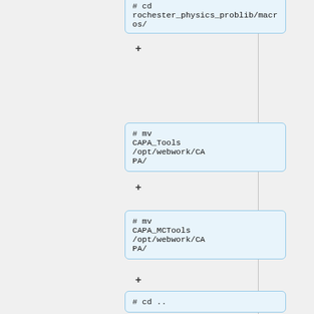# cd rochester_physics_problib/macros/
# mv CAPA_Tools /opt/webwork/CAPA/
# mv CAPA_MCTools /opt/webwork/CAPA/
# cd ..
# mv CAPA_Graphics /opt/webwork/webwork2/htdocs/
# chgrp -R wwdata /opt/webwork/we